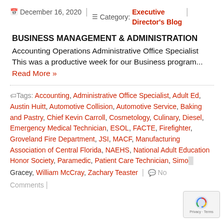December 16, 2020 | Category: Executive Director's Blog
BUSINESS MANAGEMENT & ADMINISTRATION
Accounting Operations Administrative Office Specialist This was a productive week for our Business program... Read More »
Tags: Accounting, Administrative Office Specialist, Adult Ed, Austin Huitt, Automotive Collision, Automotive Service, Baking and Pastry, Chief Kevin Carroll, Cosmetology, Culinary, Diesel, Emergency Medical Technician, ESOL, FACTE, Firefighter, Groveland Fire Department, JSI, MACF, Manufacturing Association of Central Florida, NAEHS, National Adult Education Honor Society, Paramedic, Patient Care Technician, Simon Gracey, William McCray, Zachary Teaster | No Comments